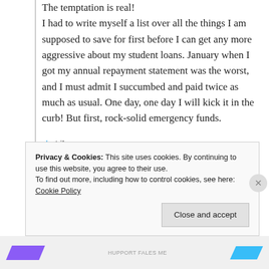The temptation is real! I had to write myself a list over all the things I am supposed to save for first before I can get any more aggressive about my student loans. January when I got my annual repayment statement was the worst, and I must admit I succumbed and paid twice as much as usual. One day, one day I will kick it in the curb! But first, rock-solid emergency funds.
Like
Privacy & Cookies: This site uses cookies. By continuing to use this website, you agree to their use. To find out more, including how to control cookies, see here: Cookie Policy
Close and accept